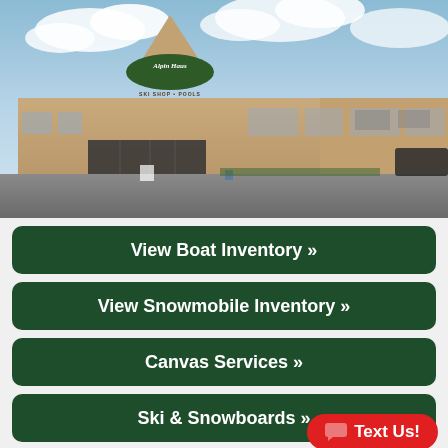[Figure (photo): Exterior photo of Alpin Haus store building with tan/beige facade, triangular peaked roof center section with green oval Alpin Haus logo sign, text reading SKI SHOP + POOLS below the sign, glass entrance doors, parking lot in foreground, cloudy sky background.]
View Boat Inventory »
View Snowmobile Inventory »
Canvas Services »
Ski & Snowboards »